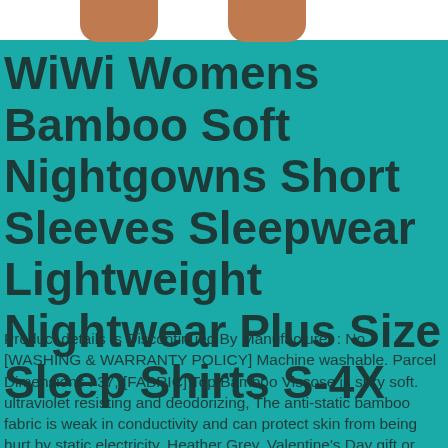[Figure (photo): Partial view of a person's legs/torso in a teal nightgown, cropped at the top of the page]
WiWi Womens Bamboo Soft Nightgowns Short Sleeves Sleepwear Lightweight Nightwear Plus Size Sleep Shirts S-4X
Product details Is Discontinued By Manufacturer : No, [WASHING & WARRANTY POLICY] Machine washable. Parcel Dimensions : 37, [FABRIC] Top Bamboo Viscose is silky soft. ultraviolet resisting and deodorizing, The anti-static bamboo fabric is weak in conductivity and can protect skin from being hurt by static electricity. Heather Grey, Valentine's Day gift or anniversary gift, cool to the touch and skin-friendly, Perfect for your families or friends as the Christmas gift. 48 Grams, Small: Clothing & Accessories. [FABRIC] Extra-soft bamboo does great job at moisture wicking. 49 x 29. Date First Available : Jun